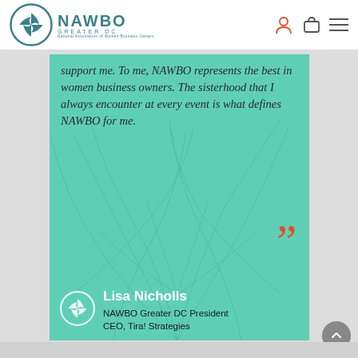[Figure (logo): NAWBO Greater DC logo — circular pinwheel emblem in teal with NAWBO text and 'GREATER DC / National Association of Women Business Owners' subtext]
support me. To me, NAWBO represents the best in women business owners. The sisterhood that I always encounter at every event is what defines NAWBO for me.
Lisa Nicholls
NAWBO Greater DC President
CEO, Tira! Strategies